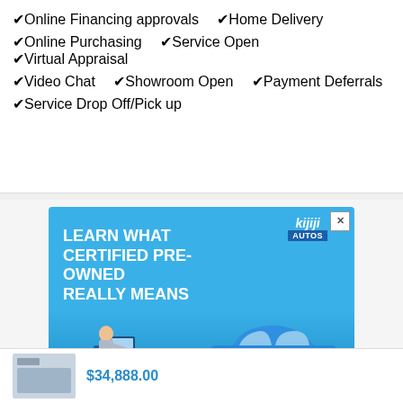✓ Online Financing approvals  ✓ Home Delivery
✓ Online Purchasing  ✓ Service Open  ✓ Virtual Appraisal
✓ Video Chat  ✓ Showroom Open  ✓ Payment Deferrals
✓ Service Drop Off/Pick up
[Figure (infographic): Kijiji Autos advertisement banner with blue background. Text reads: LEARN WHAT CERTIFIED PRE-OWNED REALLY MEANS with a Read more button. Shows a person at a desk and a blue car.]
$34,888.00